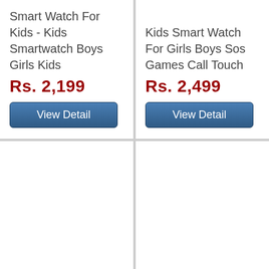Smart Watch For Kids - Kids Smartwatch Boys Girls Kids
Rs. 2,199
View Detail
Kids Smart Watch For Girls Boys Sos Games Call Touch
Rs. 2,499
View Detail